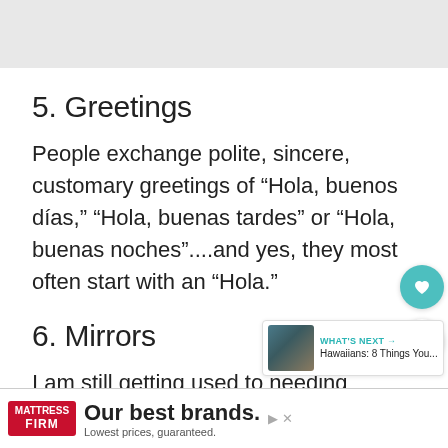[Figure (photo): Top image area placeholder (gray)]
5. Greetings
People exchange polite, sincere, customary greetings of “Hola, buenos días,” “Hola, buenas tardes” or “Hola, buenas noches”....and yes, they most often start with an “Hola.”
6. Mirrors
I am still getting used to needing
WHAT'S NEXT → Hawaiians: 8 Things You...
[Figure (advertisement): Mattress Firm ad: Our best brands. Lowest prices, guaranteed.]